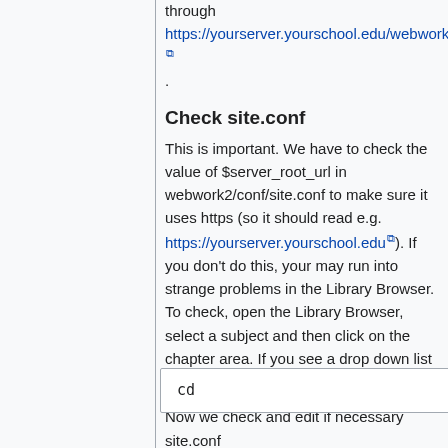through https://yourserver.yourschool.edu/webwork2/.
Check site.conf
This is important. We have to check the value of $server_root_url in webwork2/conf/site.conf to make sure it uses https (so it should read e.g. https://yourserver.yourschool.edu). If you don't do this, your may run into strange problems in the Library Browser. To check, open the Library Browser, select a subject and then click on the chapter area. If you see a drop down list of chapters, things are working properly.
Now we check and edit if necessary site.conf
cd